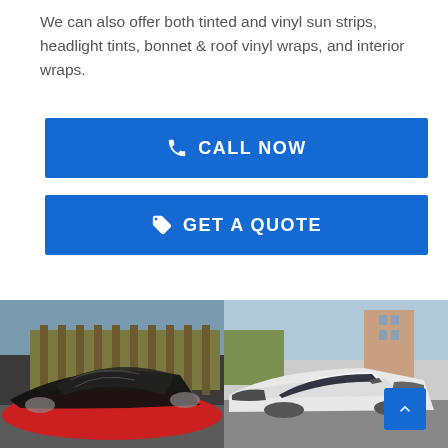We can also offer both tinted and vinyl sun strips, headlight tints, bonnet & roof vinyl wraps, and interior wraps.
[Figure (other): Blue button with phone icon and text CALL NOW]
[Figure (other): Blue button with tag icon and text GET A QUOTE]
[Figure (photo): Photo of a dark car with tinted bonnet/windshield, viewed from front-side, outdoor setting with fence]
[Figure (photo): Photo of a white car with tinted headlights viewed from front, outdoor residential setting]